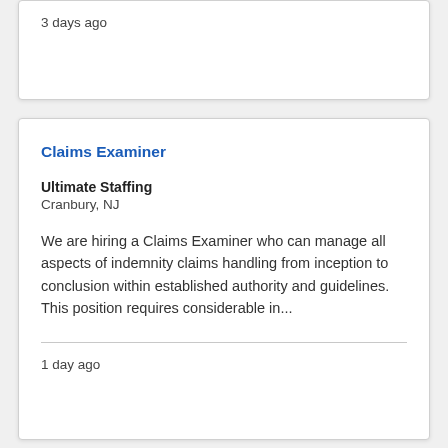3 days ago
Claims Examiner
Ultimate Staffing
Cranbury, NJ
We are hiring a Claims Examiner who can manage all aspects of indemnity claims handling from inception to conclusion within established authority and guidelines. This position requires considerable in...
1 day ago